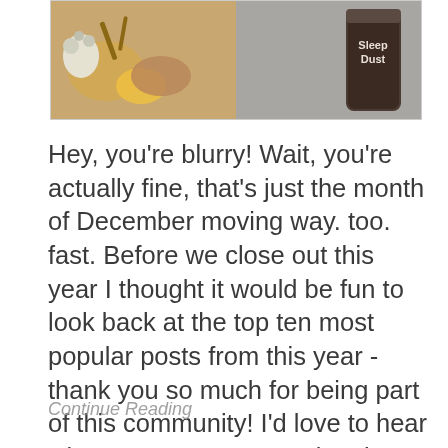[Figure (photo): Two-panel image: left side shows honey, garlic, lemon and ginger on a surface; right side shows a dark canister labeled 'Sleep Dust' on a fabric background.]
Hey, you're blurry! Wait, you're actually fine, that's just the month of December moving way. too. fast. Before we close out this year I thought it would be fun to look back at the top ten most popular posts from this year - thank you so much for being part of this community! I'd love to hear what you want me to write about in 2019 - if you [...]
Continue Reading